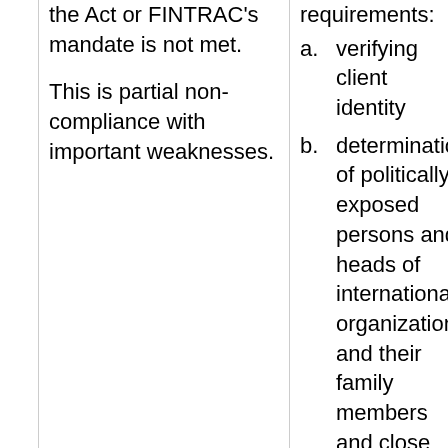the Act or FINTRAC's mandate is not met.
This is partial non-compliance with important weaknesses.
requirements:
a. verifying client identity
b. determination of politically exposed persons and heads of international organizations and their family members and close associates